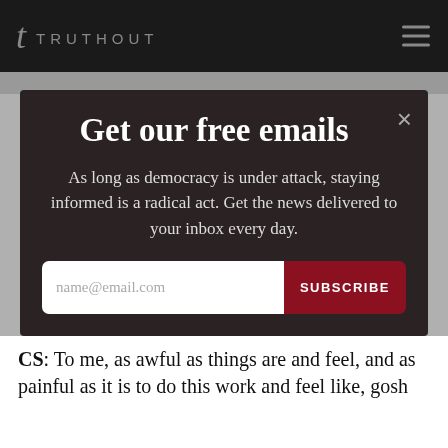t TRUTHOUT
Get our free emails
As long as democracy is under attack, staying informed is a radical act. Get the news delivered to your inbox every day.
name@email.com  SUBSCRIBE
Already a subscriber? Please consider
CS: To me, as awful as things are and feel, and as painful as it is to do this work and feel like, gosh